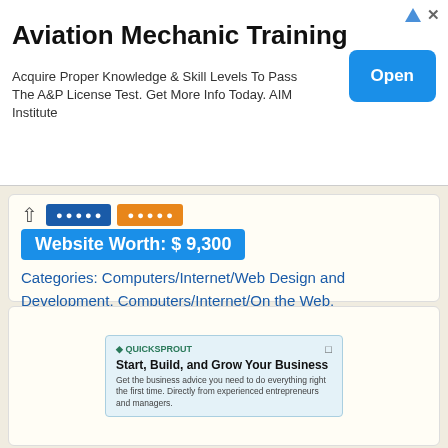[Figure (screenshot): Advertisement banner for Aviation Mechanic Training by AIM Institute with an Open button]
Aviation Mechanic Training
Acquire Proper Knowledge & Skill Levels To Pass The A&P License Test. Get More Info Today. AIM Institute
Website Worth: $ 9,300
Categories: Computers/Internet/Web Design and Development, Computers/Internet/On the Web, Computers/Internet, Internet Services, Information Technology
Is it similar? Yes 0 No Scroll Top
[Figure (screenshot): QuickSprout widget: Start, Build, and Grow Your Business. Get the business advice you need to do everything right the first time. Directly from experienced entrepreneurs and managers.]